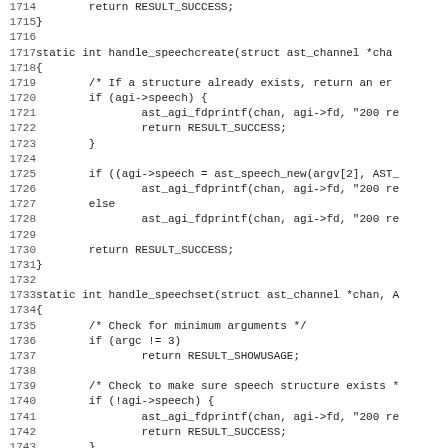[Figure (other): Source code listing in monospace font showing C code for handle_speechcreate and handle_speechset functions, lines 1714-1746]